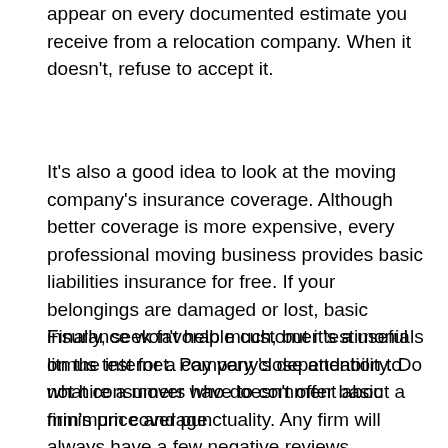appear on every documented estimate you receive from a relocation company. When it doesn't, refuse to accept it.
It's also a good idea to look at the moving company's insurance coverage. Although better coverage is more expensive, every professional moving business provides basic liabilities insurance for free. If your belongings are damaged or lost, basic insurance won't help much, but it's a useful litmus test for a company's dependability. Do not hire a mover who doesn't offer basic minimum coverage.
Finally, seek favorable customer testimonials on the internet. Pay very close attention to what consumers have to comment about a firm's price and punctuality. Any firm will always have a few negative reviews. However, if most of the feedback is